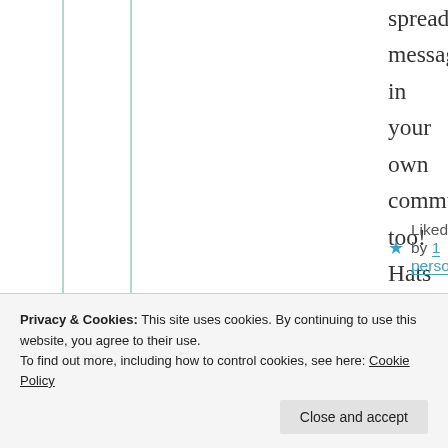spreading message in your own community too! Hats off.
★ Liked by 1 person
Suma Reddy
21st Aug 2021 at 10:17 am
Privacy & Cookies: This site uses cookies. By continuing to use this website, you agree to their use.
To find out more, including how to control cookies, see here: Cookie Policy
Close and accept